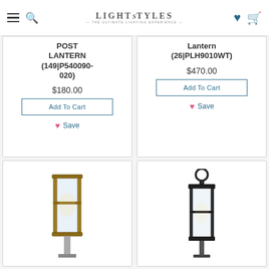LightStyles — The Ultimate Lighting Experience
POST LANTERN (149|P540090-020)
$180.00
Add To Cart
Save
Lantern (26|PLH9010WT)
$470.00
Add To Cart
Save
[Figure (photo): Outdoor post lantern with wood frame and glass panels]
[Figure (photo): Dark finish outdoor post lantern with ring top]